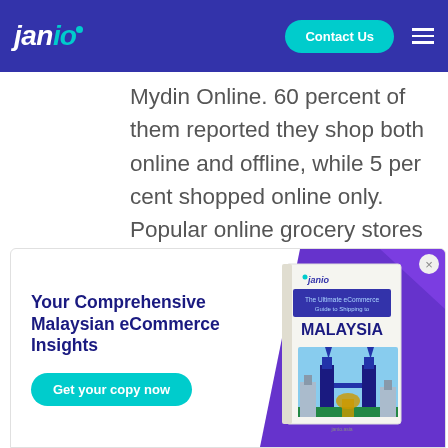janio [logo with navigation bar]
showed that popular online grocery included Tesco Online Mydin Online. 60 percent of them reported they shop both online and offline, while 5 per cent shopped online only. Popular online grocery stores included Tesco Online and Mydin Online among vase.ai's respondents.
[Figure (infographic): Advertisement banner for Janio: 'Your Comprehensive Malaysian eCommerce Insights' with a 'Get your copy now' button in teal. Right side shows a book cover with Malaysia Petronas Towers illustration on a purple diagonal background.]